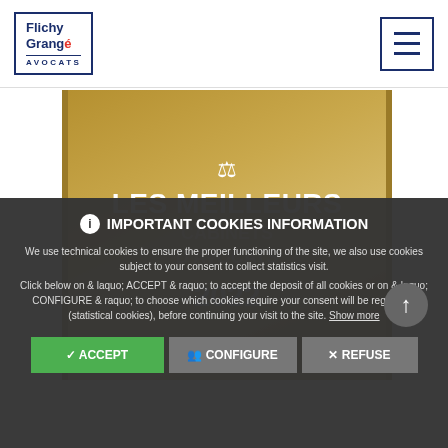Flichy Grangé Avocats
[Figure (illustration): Award badge: Les Meilleurs Cabinets d'Avocats 2022 with gold/tan gradient background and scales of justice icon]
IMPORTANT COOKIES INFORMATION
We use technical cookies to ensure the proper functioning of the site, we also use cookies subject to your consent to collect statistics visit.
Click below on & laquo; ACCEPT & raquo; to accept the deposit of all cookies or on & laquo; CONFIGURE & raquo; to choose which cookies require your consent will be registered (statistical cookies), before continuing your visit to the site. Show more